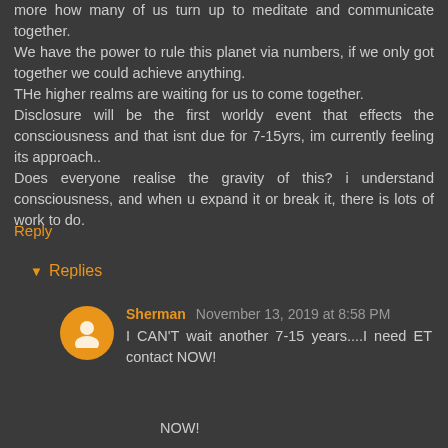more how many of us turn up to meditate and communicate together.
We have the power to rule this planet via numbers, if we only got together we could achieve anything.
THe higher realms are waiting for us to come together.
Disclosure will be the first worldy event that effects the consciousness and that isnt due for 7-15yrs, im currently feeling its approach..
Does everyone realise the gravity of this? i understand consciousness, and when u expand it or break it, there is lots of work to do.
Reply
▾ Replies
Sherman November 13, 2019 at 8:58 PM
I CAN'T wait another 7-15 years....I need ET contact NOW!
NOW!